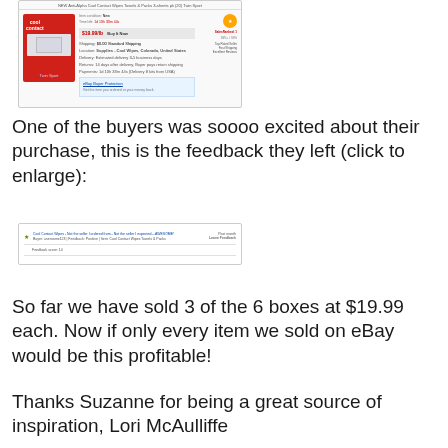[Figure (screenshot): eBay product listing screenshot showing a box of 'Cool Contact' wipes with product details and seller information]
One of the buyers was soooo excited about their purchase, this is the feedback they left (click to enlarge):
[Figure (screenshot): eBay feedback screenshot showing a buyer's positive feedback comment]
So far we have sold 3 of the 6 boxes at $19.99 each. Now if only every item we sold on eBay would be this profitable!
Thanks Suzanne for being a great source of inspiration, Lori McAulliffe